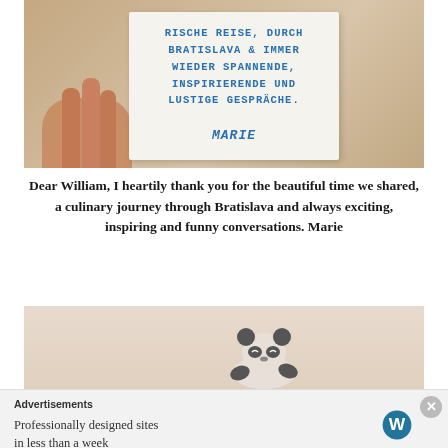[Figure (photo): A hand holding a handwritten note card in blue marker text reading: 'RISCHE REISE, DURCH BRATISLAVA & IMMER WIEDER SPANNENDE, INSPIRIERENDE UND LUSTIGE GESPRÄCHE. MARIE']
Dear William, I heartily thank you for the beautiful time we shared, a culinary journey through Bratislava and always exciting, inspiring and funny conversations. Marie
[Figure (illustration): A hand-drawn illustration of a sleeping panda on beige paper background]
Advertisements
Professionally designed sites in less than a week